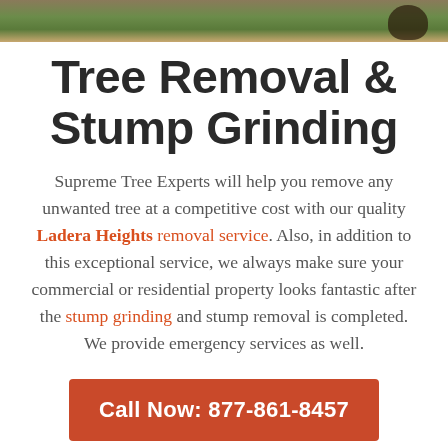[Figure (photo): Outdoor ground-level photo strip showing grass, dirt/soil, and a partial view of feet/shoes on the right side.]
Tree Removal & Stump Grinding
Supreme Tree Experts will help you remove any unwanted tree at a competitive cost with our quality Ladera Heights removal service. Also, in addition to this exceptional service, we always make sure your commercial or residential property looks fantastic after the stump grinding and stump removal is completed. We provide emergency services as well.
Call Now: 877-861-8457